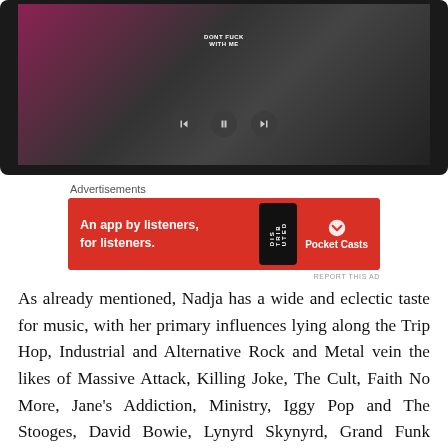[Figure (photo): Video player showing three people making hand gestures; person in center wears a shirt reading 'DONT FUCK WITH ME'; playback controls (back, pause, forward) visible]
Advertisements
[Figure (screenshot): Red advertisement banner for Pocket Casts: 'An app by listeners, for listeners.' with phone image and Pocket Casts logo]
REPORT THIS AD
As already mentioned, Nadja has a wide and eclectic taste for music, with her primary influences lying along the Trip Hop, Industrial and Alternative Rock and Metal vein the likes of Massive Attack, Killing Joke, The Cult, Faith No More, Jane's Addiction, Ministry, Iggy Pop and The Stooges, David Bowie, Lynyrd Skynyrd, Grand Funk Railroad and Stevie Wonder, with the one and only Iggy